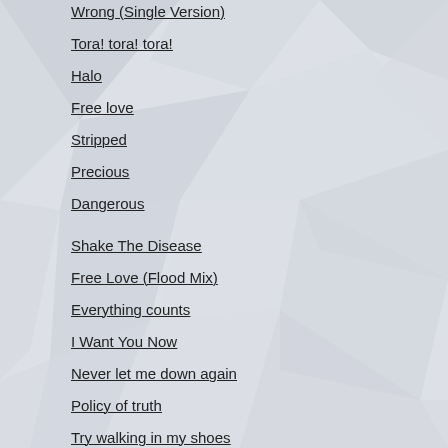Wrong (Single Version)
Tora! tora! tora!
Halo
Free love
Stripped
Precious
Dangerous
Shake The Disease
Free Love (Flood Mix)
Everything counts
I Want You Now
Never let me down again
Policy of truth
Try walking in my shoes
Dream On